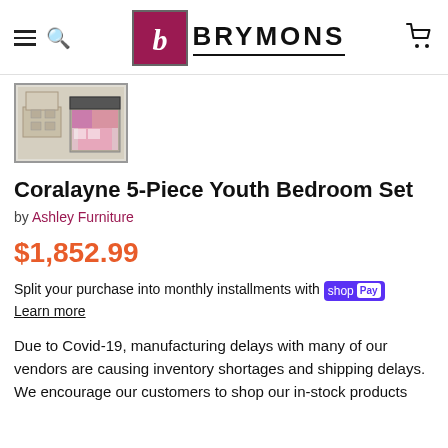Brymons - navigation header with logo
[Figure (photo): Thumbnail image of Coralayne 5-Piece Youth Bedroom Set showing dresser/mirror and bed with colorful bedding]
Coralayne 5-Piece Youth Bedroom Set
by Ashley Furniture
$1,852.99
Split your purchase into monthly installments with shop Pay Learn more
Due to Covid-19, manufacturing delays with many of our vendors are causing inventory shortages and shipping delays. We encourage our customers to shop our in-stock products which are available immediately.